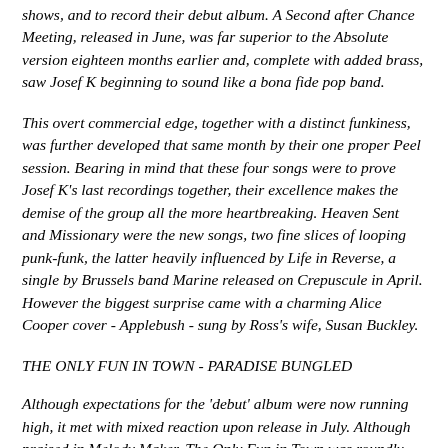shows, and to record their debut album. A Second after Chance Meeting, released in June, was far superior to the Absolute version eighteen months earlier and, complete with added brass, saw Josef K beginning to sound like a bona fide pop band.
This overt commercial edge, together with a distinct funkiness, was further developed that same month by their one proper Peel session. Bearing in mind that these four songs were to prove Josef K's last recordings together, their excellence makes the demise of the group all the more heartbreaking. Heaven Sent and Missionary were the new songs, two fine slices of looping punk-funk, the latter heavily influenced by Life in Reverse, a single by Brussels band Marine released on Crepuscule in April. However the biggest surprise came with a charming Alice Cooper cover - Applebush - sung by Ross's wife, Susan Buckley.
THE ONLY FUN IN TOWN - PARADISE BUNGLED
Although expectations for the 'debut' album were now running high, it met with mixed reaction upon release in July. Although praised in Melody Maker, The Only Fun in Town was roundly slated by Sounds, while Paul Morley, writing in the NME, bemoaned: